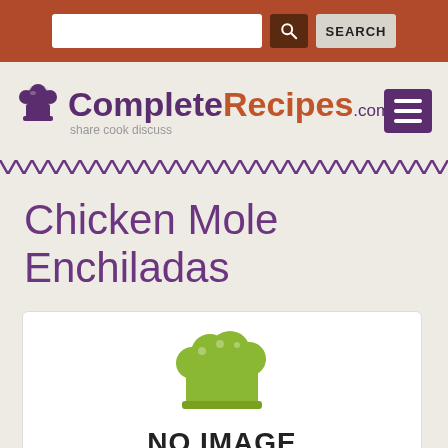SEARCH
[Figure (logo): CompleteRecipes.com logo with chef hat icon and tagline 'share cook discuss']
Chicken Mole Enchiladas
[Figure (illustration): No image placeholder: green chef hat icon above bold text 'NO IMAGE']